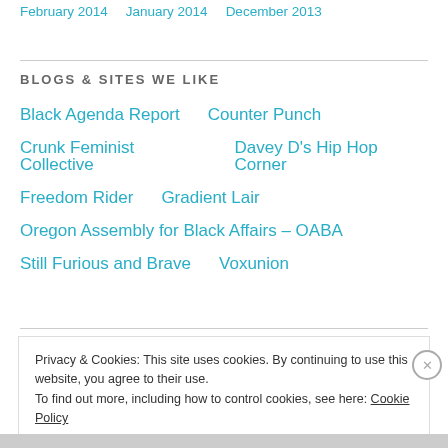February 2014   January 2014   December 2013
BLOGS & SITES WE LIKE
Black Agenda Report
Counter Punch
Crunk Feminist Collective
Davey D's Hip Hop Corner
Freedom Rider
Gradient Lair
Oregon Assembly for Black Affairs – OABA
Still Furious and Brave
Voxunion
Privacy & Cookies: This site uses cookies. By continuing to use this website, you agree to their use.
To find out more, including how to control cookies, see here: Cookie Policy
Close and accept